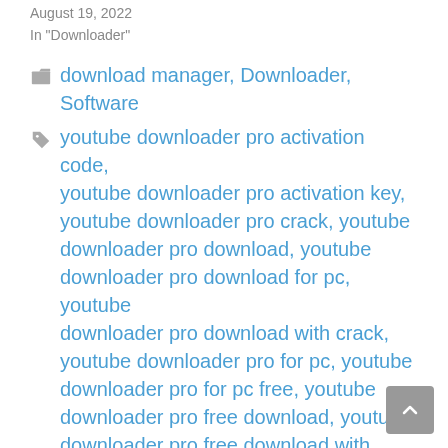August 19, 2022
In "Downloader"
download manager, Downloader, Software
youtube downloader pro activation code, youtube downloader pro activation key, youtube downloader pro crack, youtube downloader pro download, youtube downloader pro download for pc, youtube downloader pro download with crack, youtube downloader pro for pc, youtube downloader pro for pc free, youtube downloader pro free download, youtube downloader pro free download with crack,